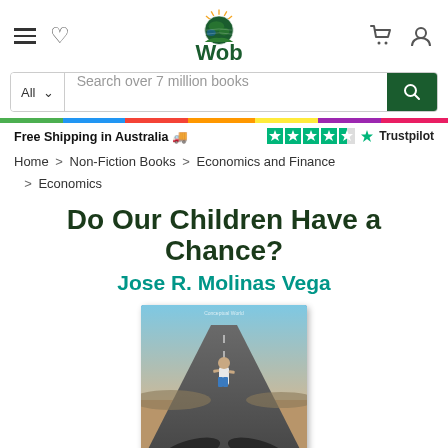[Figure (logo): Wob bookstore website header with hamburger menu, heart icon, Wob globe logo, cart icon, and user icon]
Search over 7 million books
Free Shipping in Australia 🚚
Trustpilot rating (4.5 stars)
Home > Non-Fiction Books > Economics and Finance > Economics
Do Our Children Have a Chance?
Jose R. Molinas Vega
[Figure (photo): Book cover of 'Do Our Children Have a Chance?' by Jose R. Molinas Vega. Shows a child standing on a desert road viewed from behind, with shadows. Orange bottom band reads 'Directions in Development: Poverty'.]